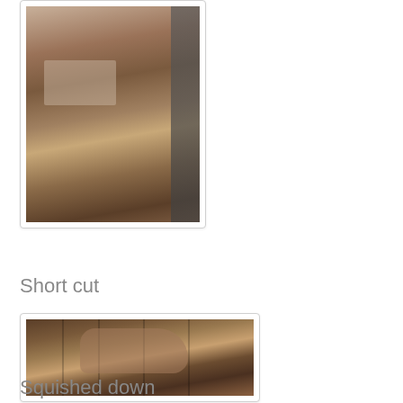[Figure (photo): Photo of a cat with shaved/short fur climbing on a wooden surface with carpet visible]
Short cut
[Figure (photo): Photo of a cat with shaved/short fur climbing or walking across furniture against a wood-paneled wall, with stereo equipment visible below]
Squished down